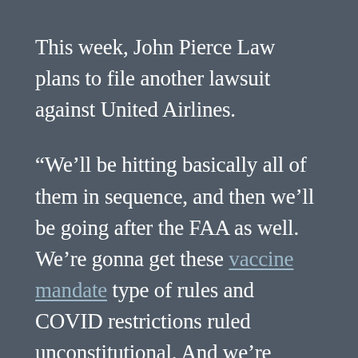This week, John Pierce Law plans to file another lawsuit against United Airlines.
“We’ll be hitting basically all of them in sequence, and then we’ll be going after the FAA as well. We’re gonna get these vaccine mandate type of rules and COVID restrictions ruled unconstitutional. And we’re gonna get findings that there was discrimination under Title Seven. We’re gonna get punitive damages for intentional